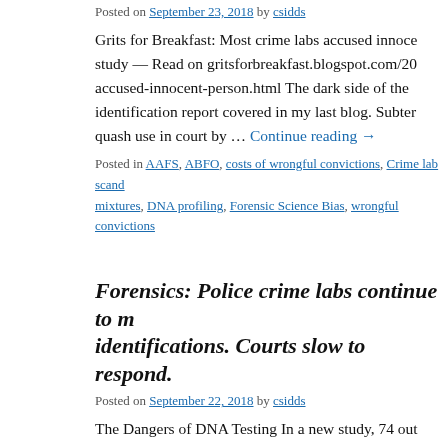Posted on September 23, 2018 by csidds
Grits for Breakfast: Most crime labs accused innocent person study — Read on gritsforbreakfast.blogspot.com/20 accused-innocent-person.html The dark side of the identification report covered in my last blog. Subter quash use in court by … Continue reading →
Posted in AAFS, ABFO, costs of wrongful convictions, Crime lab scand mixtures, DNA profiling, Forensic Science Bias, wrongful convictions
Forensics: Police crime labs continue to m identifications. Courts slow to respond.
Posted on September 22, 2018 by csidds
The Dangers of DNA Testing In a new study, 74 out implicated an innocent person in a hypothetical ba Greg Hampikian Dr. Hampikian is a professor of bio Continue reading →
Posted in Uncategorized | Leave a comment